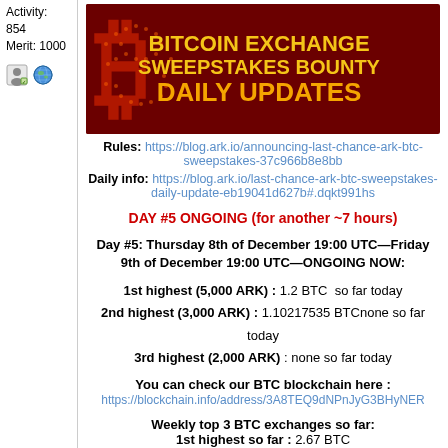Activity:
854
Merit: 1000
[Figure (illustration): Bitcoin Exchange Sweepstakes Bounty Daily Updates banner with red background, golden Bitcoin logo, and yellow/orange text]
Rules: https://blog.ark.io/announcing-last-chance-ark-btc-sweepstakes-37c966b8e8bb
Daily info: https://blog.ark.io/last-chance-ark-btc-sweepstakes-daily-update-eb19041d627b#.dqkt991hs
DAY #5 ONGOING (for another ~7 hours)
Day #5: Thursday 8th of December 19:00 UTC—Friday 9th of December 19:00 UTC—ONGOING NOW:
1st highest (5,000 ARK) :  1.2 BTC  so far today
2nd highest (3,000 ARK) : 1.10217535 BTCnone so far today
3rd highest (2,000 ARK) : none so far today
You can check our BTC blockchain here :
https://blockchain.info/address/3A8TEQ9dNPnJyG3BHyNER
Weekly top 3 BTC exchanges so far:
1st highest so far : 2.67 BTC